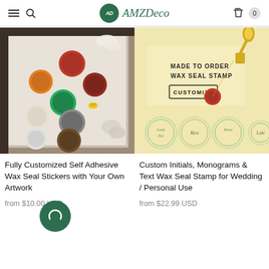AMZDeco — navigation header with hamburger menu, search, logo, cart (0)
[Figure (photo): Collection of colorful wax seal stickers in various colors (red, orange, green, white, brown, gray) on a white tissue paper background in a dark box]
Fully Customized Self Adhesive Wax Seal Stickers with Your Own Artwork
from $10.00 USD
[Figure (photo): Made to Order Wax Seal Stamp product image on yellow background with gold handle stamp, red wax seal, CUSTOMIZE button, and sample round seal designs]
Custom Initials, Monograms & Text Wax Seal Stamp for Wedding / Personal Use
from $22.99 USD